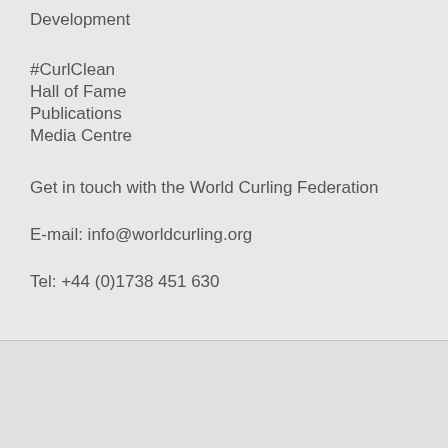Development
#CurlClean
Hall of Fame
Publications
Media Centre
Get in touch with the World Curling Federation
E-mail: info@worldcurling.org
Tel: +44 (0)1738 451 630
[Figure (logo): Jet Ice logo - oval shape with Jet Ice text and WE BRING ICE TO LIFE tagline]
[Figure (logo): Laurie Artiss The Pin People logo - rocket/arrow shape with text LAURIE ARTISS THE PIN PEOPLE]